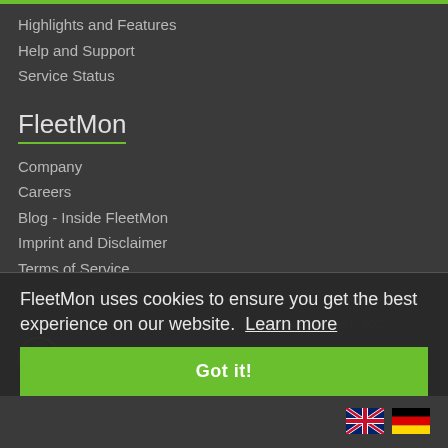Highlights and Features
Help and Support
Service Status
FleetMon
Company
Careers
Blog - Inside FleetMon
Imprint and Disclaimer
Terms of Service
Privacy Policy
FleetMon is the pioneer AIS live vessel tracking community founded in 2007.
FleetMon uses cookies to ensure you get the best experience on our website. Learn more
Got it!
© FleetMon
All rights reserved.
MADE IN GERMANY